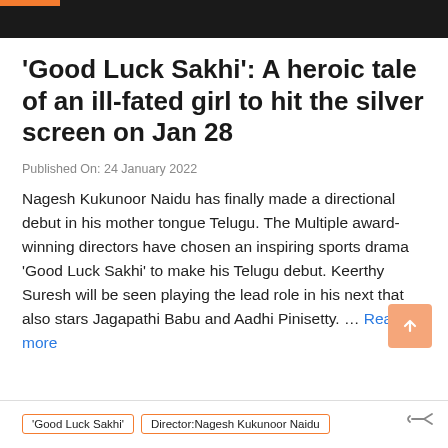'Good Luck Sakhi': A heroic tale of an ill-fated girl to hit the silver screen on Jan 28
Published On: 24 January 2022
Nagesh Kukunoor Naidu has finally made a directional debut in his mother tongue Telugu. The Multiple award-winning directors have chosen an inspiring sports drama 'Good Luck Sakhi' to make his Telugu debut. Keerthy Suresh will be seen playing the lead role in his next that also stars Jagapathi Babu and Aadhi Pinisetty. … Read more
'Good Luck Sakhi'
Director:Nagesh Kukunoor Naidu